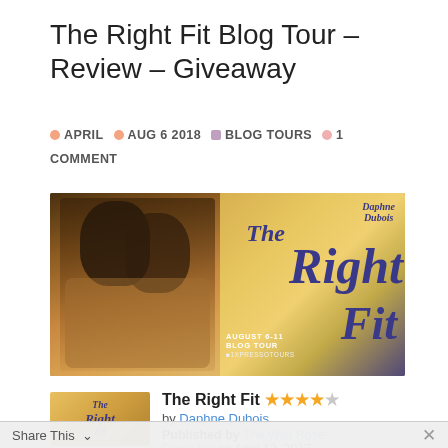The Right Fit Blog Tour – Review – Giveaway
APRIL  AUG 6 2018  BLOG TOURS  1 COMMENT
[Figure (photo): Blog tour banner image for 'The Right Fit' by Daphne Dubois. Shows a couple about to kiss on the left half, and on the right half a golden/purple gradient background with the book title 'The Right Fit' in large cursive blue letters, 'Daphne Dubois' at top right, and 'AUGUST 6-11 BLOG TOUR XPRESSO TOURS' at the bottom right.]
[Figure (photo): Book cover thumbnail for 'The Right Fit' by Daphne Dubois, showing cursive title text on a warm golden background with a couple.]
The Right Fit ★★★★☆ by Daphne Dubois Published by The Wild Rose Press Inc on April 12, 2017